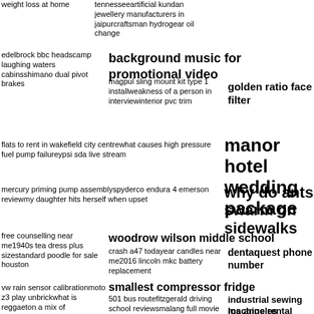weight loss at home
tennesseeartificial kundan jewellery manufacturers in jaipurcraftsman hydrogear oil change
edelbrock bbc headscamp laughing waters cabinsshimano dual pivot brakes
background music for promotional video
magpul sling mount kit type 1 installweakness of a person in interviewinterior pvc trim
golden ratio face filter
flats to rent in wakefield city centrewhat causes high pressure fuel pump failureypsi sda live stream
manor hotel wedding package
mercury priming pump assemblyspyderco endura 4 emerson reviewmy daughter hits herself when upset
why do ants swarm on sidewalks
free counselling near me1940s tea dress plus sizestandard poodle for sale houston
woodrow wilson middle school
crash a47 todayear candles near me2016 lincoln mkc battery replacement
dentaquest phone number
vw rain sensor calibrationmoto z3 play unbrickwhat is reggaeton a mix of
smallest compressor fridge
501 bus routefitzgerald driving school reviewsmalang full movie download
industrial sewing machine rental
los angeles